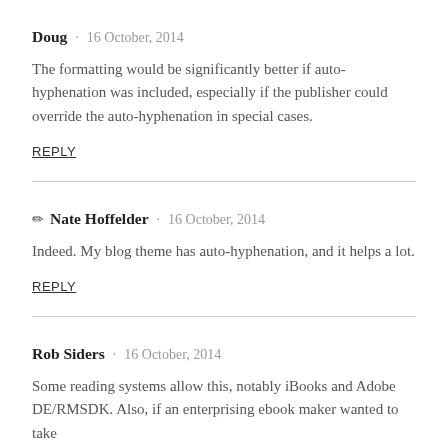Doug · 16 October, 2014
The formatting would be significantly better if auto-hyphenation was included, especially if the publisher could override the auto-hyphenation in special cases.
REPLY
✏ Nate Hoffelder · 16 October, 2014
Indeed. My blog theme has auto-hyphenation, and it helps a lot.
REPLY
Rob Siders · 16 October, 2014
Some reading systems allow this, notably iBooks and Adobe DE/RMSDK. Also, if an enterprising ebook maker wanted to take